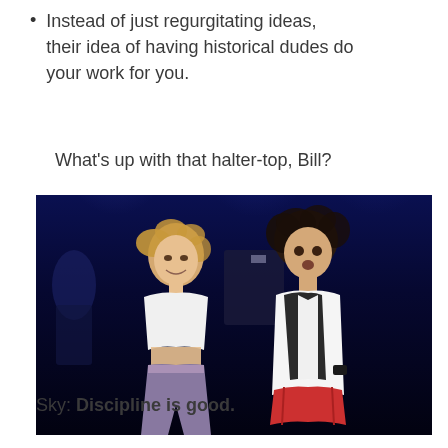Instead of just regurgitating ideas, their idea of having historical dudes do your work for you.
What's up with that halter-top, Bill?
[Figure (photo): Two young men standing on a stage with blue stage lighting. The person on the left wears a cropped white halter-top shirt exposing his midriff, with patterned/purple pants. The person on the right has curly dark hair, wears a white t-shirt under a dark vest, with a red jacket tied around his waist.]
Sky: Discipline is good.